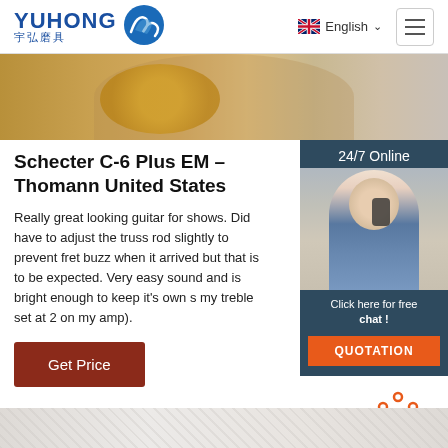YUHONG 宇弘磨具 | English | Navigation menu
[Figure (photo): Hero image showing hands holding a round golden/metallic object, partial view]
Schecter C-6 Plus EM – Thomann United States
Really great looking guitar for shows. Did have to adjust the truss rod slightly to prevent fret buzz when it arrived but that is to be expected. Very easy sound and is bright enough to keep it's own s... my treble set at 2 on my amp).
[Figure (photo): Sidebar showing 24/7 Online support panel with photo of woman wearing headset and blue shirt, with 'Click here for free chat!' text and orange QUOTATION button]
Get Price
[Figure (infographic): Orange TOP button with dot pattern icon above the text]
[Figure (photo): Bottom strip showing marble/stone texture background, partial view]